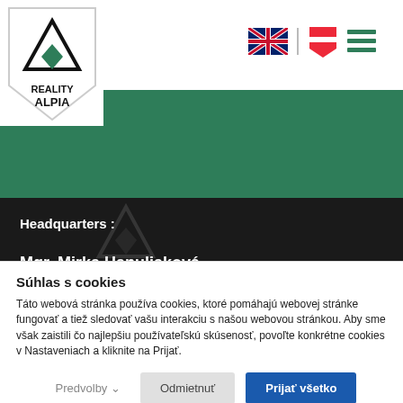[Figure (logo): Reality Alpia logo — white shield with black mountain triangle and green diamond, text REALITY ALPIA below]
[Figure (infographic): UK flag icon, Austrian flag shield icon, and hamburger menu icon in header navigation area]
Headquarters :
Mgr. Mirka Hanuliaková
Súhlas s cookies
Táto webová stránka používa cookies, ktoré pomáhajú webovej stránke fungovať a tiež sledovať vašu interakciu s našou webovou stránkou. Aby sme však zaistili čo najlepšiu používateľskú skúsenosť, povoľte konkrétne cookies v Nastaveniach a kliknite na Prijať.
Predvolby  Odmietnuť  Prijať všetko